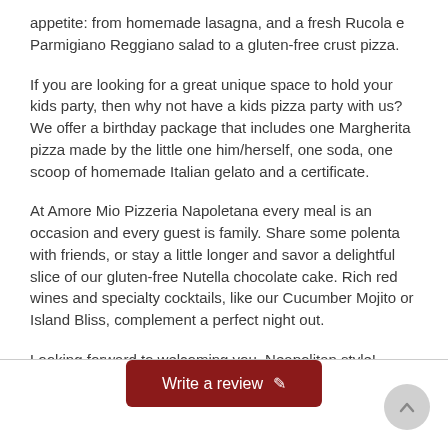appetite: from homemade lasagna, and a fresh Rucola e Parmigiano Reggiano salad to a gluten-free crust pizza.
If you are looking for a great unique space to hold your kids party, then why not have a kids pizza party with us? We offer a birthday package that includes one Margherita pizza made by the little one him/herself, one soda, one scoop of homemade Italian gelato and a certificate.
At Amore Mio Pizzeria Napoletana every meal is an occasion and every guest is family. Share some polenta with friends, or stay a little longer and savor a delightful slice of our gluten-free Nutella chocolate cake. Rich red wines and specialty cocktails, like our Cucumber Mojito or Island Bliss, complement a perfect night out.
Looking forward to welcoming you, Neapolitan style!
Write a review